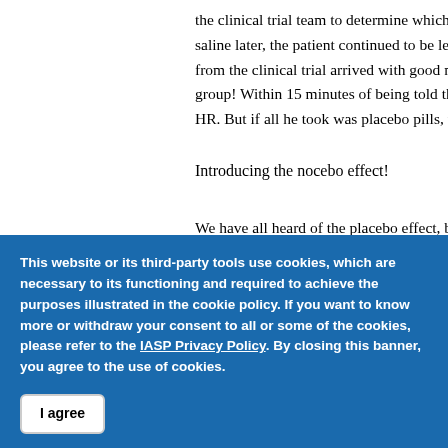the clinical trial team to determine which drug… saline later, the patient continued to be letharg… from the clinical trial arrived with good news:… group! Within 15 minutes of being told this, th… HR. But if all he took was placebo pills, why d…
Introducing the nocebo effect!
We have all heard of the placebo effect, but th… resulting from a harmless substance or treatme… is some evidence that the nocebo effect may b…
This website or its third-party tools use cookies, which are necessary to its functioning and required to achieve the purposes illustrated in the cookie policy. If you want to know more or withdraw your consent to all or some of the cookies, please refer to the IASP Privacy Policy. By closing this banner, you agree to the use of cookies.